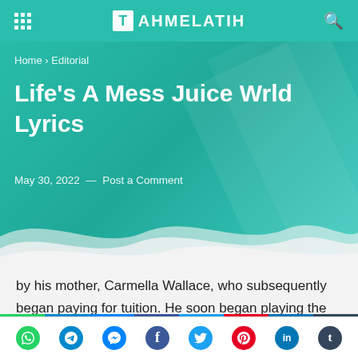TAHMELATIH
Home › Editorial
Life's A Mess Juice Wrld Lyrics
May 30, 2022  —  Post a Comment
by his mother, Carmella Wallace, who subsequently began paying for tuition. He soon began playing the guitar and drums, as well as the trumpet in band class. [13] In his second year of high school, he started sharing music he recorded on his smartphone to SoundCloud. [14] Higgins